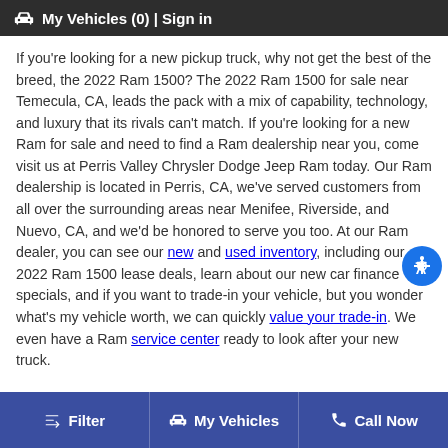🚗 My Vehicles (0) | Sign in
If you're looking for a new pickup truck, why not get the best of the breed, the 2022 Ram 1500? The 2022 Ram 1500 for sale near Temecula, CA, leads the pack with a mix of capability, technology, and luxury that its rivals can't match. If you're looking for a new Ram for sale and need to find a Ram dealership near you, come visit us at Perris Valley Chrysler Dodge Jeep Ram today. Our Ram dealership is located in Perris, CA, we've served customers from all over the surrounding areas near Menifee, Riverside, and Nuevo, CA, and we'd be honored to serve you too. At our Ram dealer, you can see our new and used inventory, including our 2022 Ram 1500 lease deals, learn about our new car finance specials, and if you want to trade-in your vehicle, but you wonder what's my vehicle worth, we can quickly value your trade-in. We even have a Ram service center ready to look after your new truck.
Filter | My Vehicles | Call Now